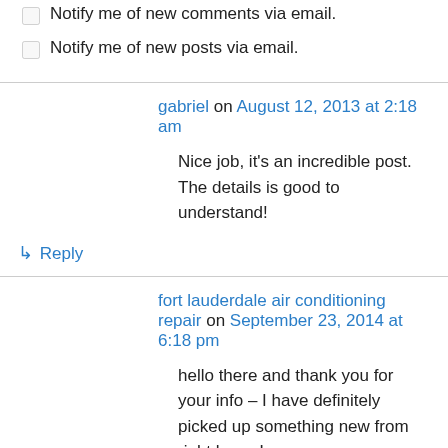Notify me of new comments via email.
Notify me of new posts via email.
gabriel on August 12, 2013 at 2:18 am
Nice job, it's an incredible post. The details is good to understand!
↳ Reply
fort lauderdale air conditioning repair on September 23, 2014 at 6:18 pm
hello there and thank you for your info – I have definitely picked up something new from right here. I did however expertise some technical issues